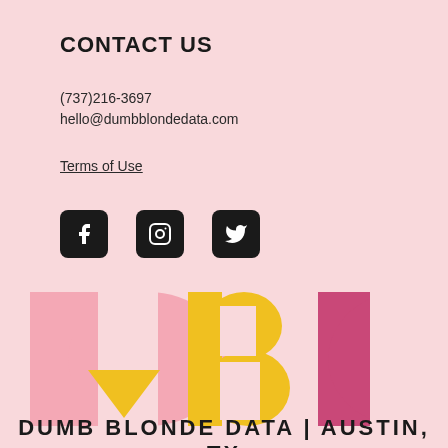CONTACT US
(737)216-3697
hello@dumbblondedata.com
Terms of Use
[Figure (infographic): Three social media icons (Facebook, Instagram, Twitter) as white icons on black rounded square backgrounds]
[Figure (logo): DBD logo made of large stylized letters D, B, D in pink, yellow, and dark pink/magenta colors]
DUMB BLONDE DATA | AUSTIN, TX